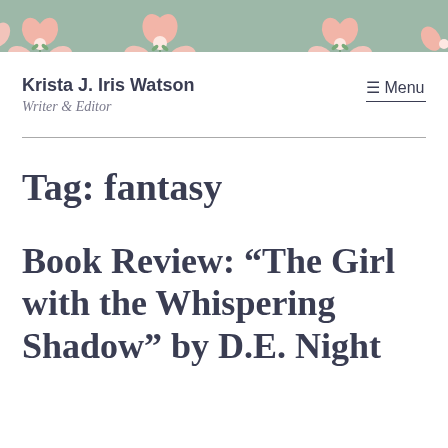[Figure (illustration): Decorative banner with sage green background and pink floral/flower illustrations along the bottom edge]
Krista J. Iris Watson
Writer & Editor
≡ Menu
Tag: fantasy
Book Review: “The Girl with the Whispering Shadow” by D.E. Night